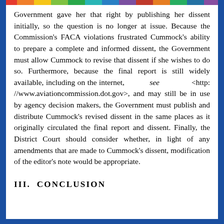Government gave her that right by publishing her dissent initially, so the question is no longer at issue. Because the Commission's FACA violations frustrated Cummock's ability to prepare a complete and informed dissent, the Government must allow Cummock to revise that dissent if she wishes to do so. Furthermore, because the final report is still widely available, including on the internet, see <http://www.aviationcommission.dot.gov>, and may still be in use by agency decision makers, the Government must publish and distribute Cummock's revised dissent in the same places as it originally circulated the final report and dissent. Finally, the District Court should consider whether, in light of any amendments that are made to Cummock's dissent, modification of the editor's note would be appropriate.
III.  CONCLUSION